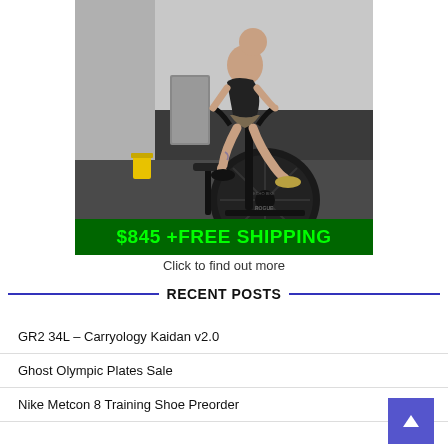[Figure (photo): A tattooed man riding a Rogue Echo Bike (air bike) in a dark gym setting, wearing black shorts and t-shirt, with a large fan wheel visible on the bike.]
$845 +FREE SHIPPING
Click to find out more
RECENT POSTS
GR2 34L – Carryology Kaidan v2.0
Ghost Olympic Plates Sale
Nike Metcon 8 Training Shoe Preorder